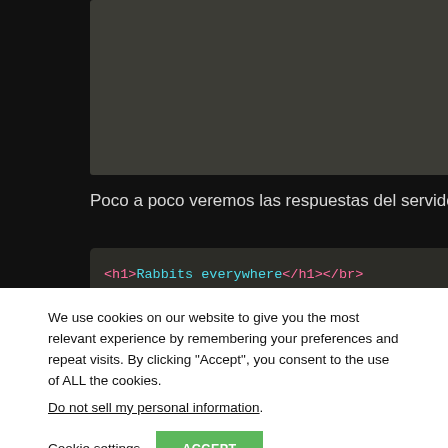[Figure (screenshot): Dark terminal/code panel at top of page showing a gray box]
Poco a poco veremos las respuestas del servidor, siempre la mis
[Figure (screenshot): Code output panel showing HTML response with colored syntax: <h1>Rabbits everywhere</h1></br>, You Win! - your flag is <b>fwhibbit{rabbit-6, Your try: <b>987654321</b></br>, </br><a href="index.php">Start over</a></br>]
We use cookies on our website to give you the most relevant experience by remembering your preferences and repeat visits. By clicking “Accept”, you consent to the use of ALL the cookies.
Do not sell my personal information.
Cookie settings
ACCEPT